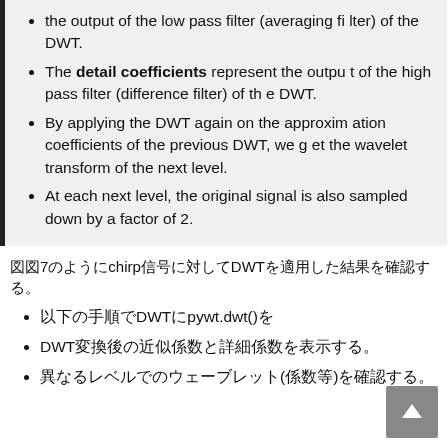The detail coefficients represent the output of the high pass filter (difference filter) of the DWT.
By applying the DWT again on the approximation coefficients of the previous DWT, we get the wavelet transform of the next level.
At each next level, the original signal is also sampled down by a factor of 2.
図7のようにchirp信号に対してDWTを適用した結果を確認する。
以下の手順でDWTにpywt.dwt()を
DWT変換後の近似係数と詳細係数を表示する。
異なるレベルでのウェーブレット(係数等)を確認する。